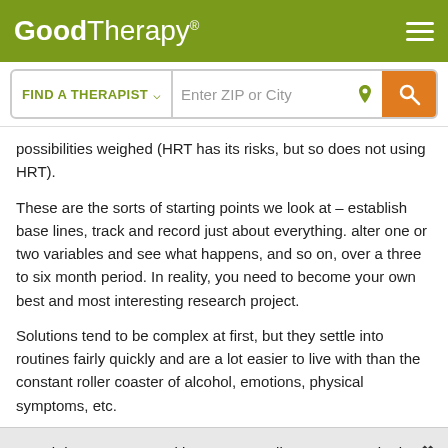GoodTherapy®
possibilities weighed (HRT has its risks, but so does not using HRT).
These are the sorts of starting points we look at – establish base lines, track and record just about everything. alter one or two variables and see what happens, and so on, over a three to six month period. In reality, you need to become your own best and most interesting research project.
Solutions tend to be complex at first, but they settle into routines fairly quickly and are a lot easier to live with than the constant roller coaster of alcohol, emotions, physical symptoms, etc.
GoodTherapy uses cookies to personalize content and ads to provide better services for our users and to analyze our traffic. By continuing to use this site you consent to our cookies.